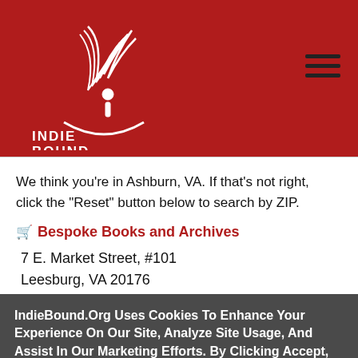[Figure (logo): IndieBound logo — white stylized book/hand graphic with 'INDIE BOUND' text below, on red background]
We think you're in Ashburn, VA. If that's not right, click the "Reset" button below to search by ZIP.
🛒 Bespoke Books and Archives
7 E. Market Street, #101
Leesburg, VA 20176
703-223-6954
IndieBound.Org Uses Cookies To Enhance Your Experience On Our Site, Analyze Site Usage, And Assist In Our Marketing Efforts. By Clicking Accept, You Agree To The Storing Of Cookies On Your Device. View Our Cookie Policy.
Give me more info
Accept all Cookies